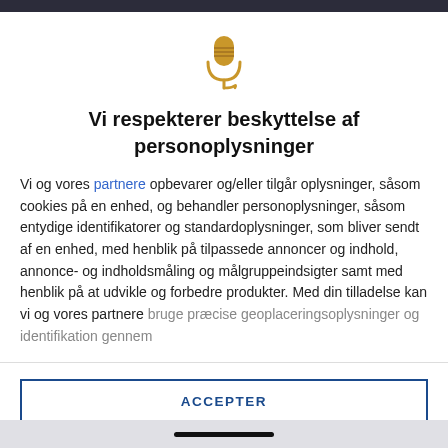[Figure (logo): Golden microphone icon]
Vi respekterer beskyttelse af personoplysninger
Vi og vores partnere opbevarer og/eller tilgår oplysninger, såsom cookies på en enhed, og behandler personoplysninger, såsom entydige identifikatorer og standardoplysninger, som bliver sendt af en enhed, med henblik på tilpassede annoncer og indhold, annonce- og indholdsmåling og målgruppeindsigter samt med henblik på at udvikle og forbedre produkter. Med din tilladelse kan vi og vores partnere bruge præcise geoplaceringsoplysninger og identifikation gennem
ACCEPTER
FLERE MULIGHEDER